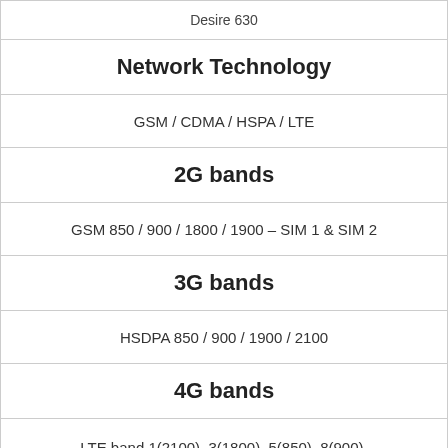Desire 630
Network Technology
GSM / CDMA / HSPA / LTE
2G bands
GSM 850 / 900 / 1800 / 1900 – SIM 1 & SIM 2
3G bands
HSDPA 850 / 900 / 1900 / 2100
4G bands
LTE band 1(2100), 3(1800), 5(850), 8(900), 40(2300)